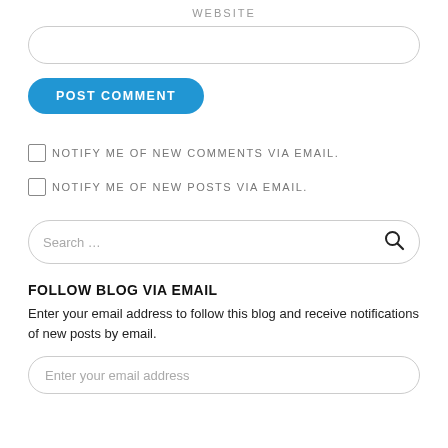WEBSITE
[Figure (screenshot): Empty rounded text input field for website URL]
[Figure (screenshot): Blue rounded 'POST COMMENT' button]
NOTIFY ME OF NEW COMMENTS VIA EMAIL.
NOTIFY ME OF NEW POSTS VIA EMAIL.
[Figure (screenshot): Search input box with placeholder 'Search ...' and search icon]
FOLLOW BLOG VIA EMAIL
Enter your email address to follow this blog and receive notifications of new posts by email.
[Figure (screenshot): Rounded input field with placeholder 'Enter your email address']